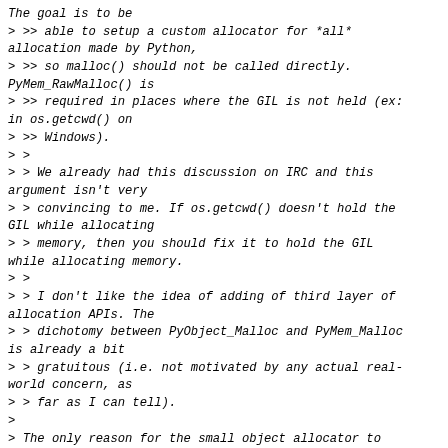The goal is to be
> >> able to setup a custom allocator for *all* allocation made by Python,
> >> so malloc() should not be called directly. PyMem_RawMalloc() is
> >> required in places where the GIL is not held (ex: in os.getcwd() on
> >> Windows).
> >
> > We already had this discussion on IRC and this argument isn't very
> > convincing to me. If os.getcwd() doesn't hold the GIL while allocating
> > memory, then you should fix it to hold the GIL while allocating memory.
> >
> > I don't like the idea of adding of third layer of allocation APIs. The
> > dichotomy between PyObject_Malloc and PyMem_Malloc is already a bit
> > gratuitous (i.e. not motivated by any actual real-world concern, as
> > far as I can tell).
>
> The only reason for the small object allocator to exist is because
> operating system allocators generally aren't optimised for frequent
> allocation and deallocation of small objects. You can gain a *lot* of